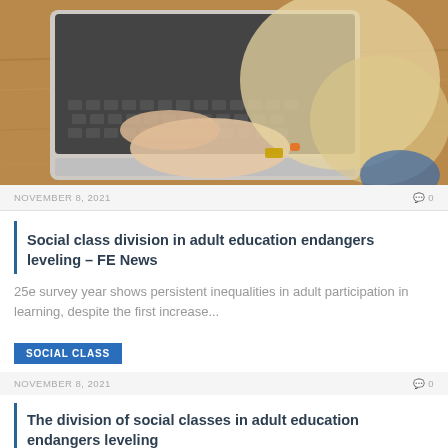[Figure (photo): Overhead view of a young blonde woman typing on a laptop computer on a wooden desk, wearing a gold watch and orange bracelet]
NOVEMBER 8, 2021    💬 0
Social class division in adult education endangers leveling – FE News
25e survey year shows persistent inequalities in adult participation in learning, despite the first increase...
SOCIAL CLASS
NOVEMBER 8, 2021    💬 0
The division of social classes in adult education endangers leveling